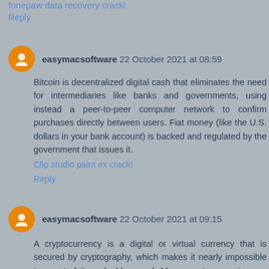fonepaw data recovery crack!
Reply
easymacsoftware 22 October 2021 at 08:59
Bitcoin is decentralized digital cash that eliminates the need for intermediaries like banks and governments, using instead a peer-to-peer computer network to confirm purchases directly between users. Fiat money (like the U.S. dollars in your bank account) is backed and regulated by the government that issues it.
Clip studio paint ex crack!
Reply
easymacsoftware 22 October 2021 at 09:15
A cryptocurrency is a digital or virtual currency that is secured by cryptography, which makes it nearly impossible to counterfeit or double-spend. Many cryptocurrencies are decentralized networks based on blockchain technology, a